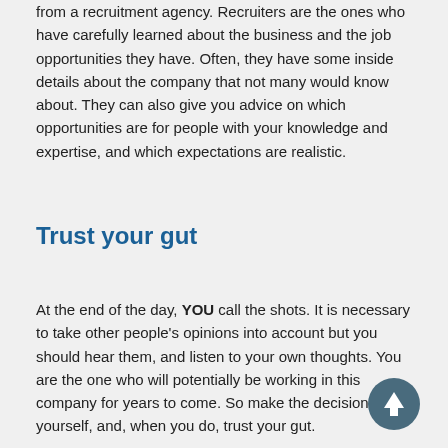from a recruitment agency. Recruiters are the ones who have carefully learned about the business and the job opportunities they have. Often, they have some inside details about the company that not many would know about. They can also give you advice on which opportunities are for people with your knowledge and expertise, and which expectations are realistic.
Trust your gut
At the end of the day, YOU call the shots. It is necessary to take other people's opinions into account but you should hear them, and listen to your own thoughts. You are the one who will potentially be working in this company for years to come. So make the decision yourself, and, when you do, trust your gut.
[Figure (other): Circular dark teal scroll-to-top button with white upward arrow icon]